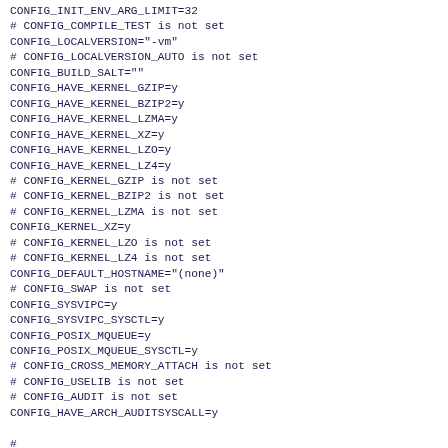CONFIG_INIT_ENV_ARG_LIMIT=32
# CONFIG_COMPILE_TEST is not set
CONFIG_LOCALVERSION="-vm"
# CONFIG_LOCALVERSION_AUTO is not set
CONFIG_BUILD_SALT=""
CONFIG_HAVE_KERNEL_GZIP=y
CONFIG_HAVE_KERNEL_BZIP2=y
CONFIG_HAVE_KERNEL_LZMA=y
CONFIG_HAVE_KERNEL_XZ=y
CONFIG_HAVE_KERNEL_LZO=y
CONFIG_HAVE_KERNEL_LZ4=y
# CONFIG_KERNEL_GZIP is not set
# CONFIG_KERNEL_BZIP2 is not set
# CONFIG_KERNEL_LZMA is not set
CONFIG_KERNEL_XZ=y
# CONFIG_KERNEL_LZO is not set
# CONFIG_KERNEL_LZ4 is not set
CONFIG_DEFAULT_HOSTNAME="(none)"
# CONFIG_SWAP is not set
CONFIG_SYSVIPC=y
CONFIG_SYSVIPC_SYSCTL=y
CONFIG_POSIX_MQUEUE=y
CONFIG_POSIX_MQUEUE_SYSCTL=y
# CONFIG_CROSS_MEMORY_ATTACH is not set
# CONFIG_USELIB is not set
# CONFIG_AUDIT is not set
CONFIG_HAVE_ARCH_AUDITSYSCALL=y

#
# IRQ subsystem